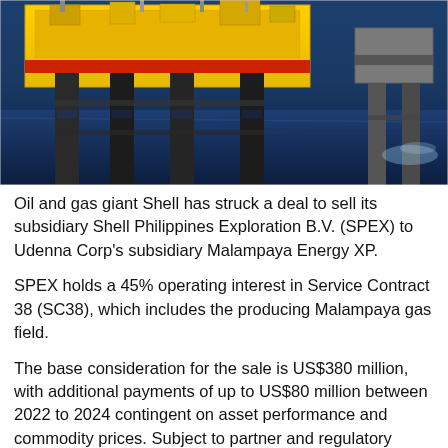[Figure (photo): Aerial photograph of an offshore oil and gas platform with yellow and red painted deck structure supported by dark legs in deep blue ocean water. A secondary grey platform structure is visible in the background to the right, with white water wake visible near it.]
Oil and gas giant Shell has struck a deal to sell its subsidiary Shell Philippines Exploration B.V. (SPEX) to Udenna Corp's subsidiary Malampaya Energy XP.
SPEX holds a 45% operating interest in Service Contract 38 (SC38), which includes the producing Malampaya gas field.
The base consideration for the sale is US$380 million, with additional payments of up to US$80 million between 2022 to 2024 contingent on asset performance and commodity prices. Subject to partner and regulatory consent, the transaction is targeted to complete by the end of 2021.